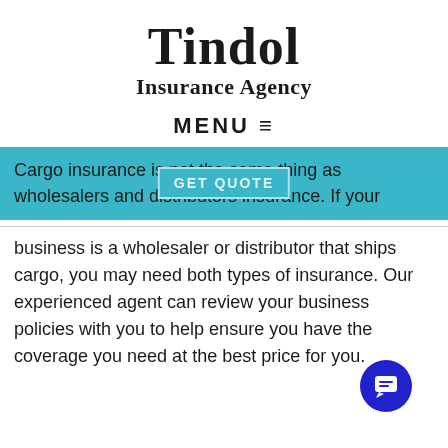Tindol
Insurance Agency
MENU ≡
Cargo insurance is not the same thing as wholesalers and distributors insurance. If your business is a wholesaler or distributor that ships cargo, you may need both types of insurance. Our experienced agent can review your business policies with you to help ensure you have the coverage you need at the best price for you.